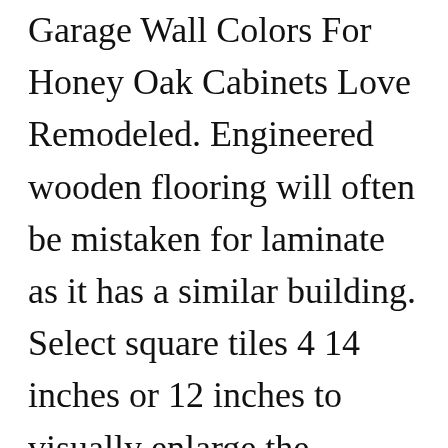Garage Wall Colors For Honey Oak Cabinets Love Remodeled. Engineered wooden flooring will often be mistaken for laminate as it has a similar building. Select square tiles 4 14 inches or 12 inches to visually enlarge the uniformity of the ground and forcing the eye upward to the oak cabinets. Leave them in the room where youll place your cabinets and floors for several days and observe different color combinations under natural and artificial light. Kitchen Paint Colors With Oak Cabinets Well As Wood Kitchen Cabinets. The Best Wood